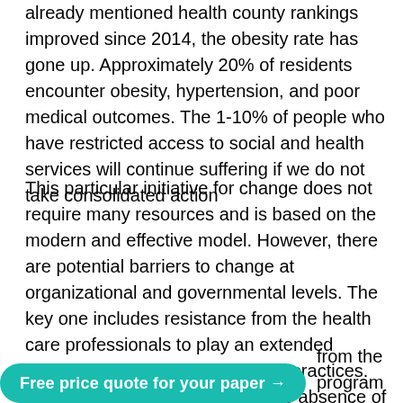already mentioned health county rankings improved since 2014, the obesity rate has gone up. Approximately 20% of residents encounter obesity, hypertension, and poor medical outcomes. The 1-10% of people who have restricted access to social and health services will continue suffering if we do not take consolidated action
This particular initiative for change does not require many resources and is based on the modern and effective model. However, there are potential barriers to change at organizational and governmental levels. The key one includes resistance from the health care professionals to play an extended advocacy role and apply new EB practices. According to Cabassa (2016), the absence of effective leadership, the inferior nature of communication, and the established culture are the main issues preventing change to be successful. Due to the lack of public health promotion culture in Jordan, the majority of
[Figure (other): Teal/turquoise rounded button banner with white bold text reading 'Free price quote for your paper →']
from the program